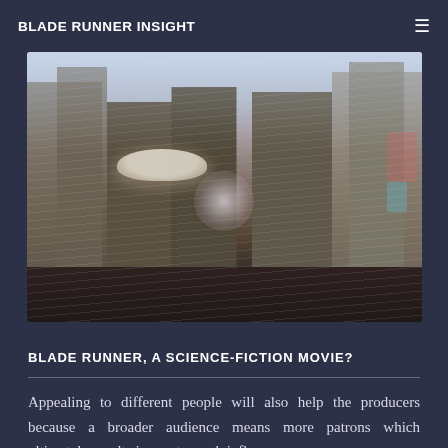BLADE RUNNER INSIGHT
[Figure (photo): A science-fiction cityscape scene from Blade Runner showing a flying spinner vehicle amid a dense urban environment with tall buildings, neon signs, and rain effects in a dystopian future city setting.]
BLADE RUNNER, A SCIENCE-FICTION MOVIE?
Appealing to different people will also help the producers because a broader audience means more patrons which ultimately results in greater cash inflow.